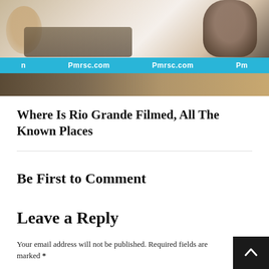[Figure (photo): Movie promotional image for Rio Grande with a teal watermark banner reading 'Pmrsc.com' repeated across it, with faces and figures visible in the background]
Where Is Rio Grande Filmed, All The Known Places
Be First to Comment
Leave a Reply
Your email address will not be published. Required fields are marked *